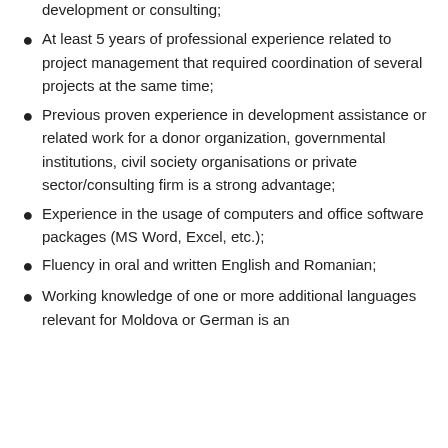development or consulting;
At least 5 years of professional experience related to project management that required coordination of several projects at the same time;
Previous proven experience in development assistance or related work for a donor organization, governmental institutions, civil society organisations or private sector/consulting firm is a strong advantage;
Experience in the usage of computers and office software packages (MS Word, Excel, etc.);
Fluency in oral and written English and Romanian;
Working knowledge of one or more additional languages relevant for Moldova or German is an